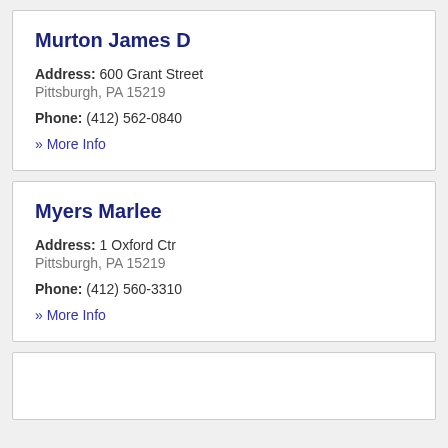Murton James D
Address: 600 Grant Street
Pittsburgh, PA 15219
Phone: (412) 562-0840
» More Info
Myers Marlee
Address: 1 Oxford Ctr
Pittsburgh, PA 15219
Phone: (412) 560-3310
» More Info